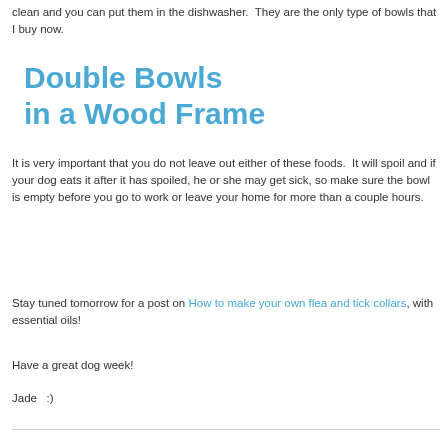clean and you can put them in the dishwasher.  They are the only type of bowls that I buy now.
Double Bowls in a Wood Frame
It is very important that you do not leave out either of these foods.  It will spoil and if your dog eats it after it has spoiled, he or she may get sick, so make sure the bowl is empty before you go to work or leave your home for more than a couple hours.
Stay tuned tomorrow for a post on How to make your own flea and tick collars, with essential oils!
Have a great dog week!
Jade   :)